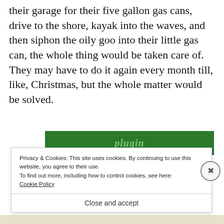their garage for their five gallon gas cans, drive to the shore, kayak into the waves, and then siphon the oily goo into their little gas can, the whole thing would be taken care of.  They may have to do it again every month till, like, Christmas, but the whole matter would be solved.
[Figure (screenshot): Green button/banner bar with italic text 'plugin' partially visible]
Privacy & Cookies: This site uses cookies. By continuing to use this website, you agree to their use.
To find out more, including how to control cookies, see here: Cookie Policy
Close and accept